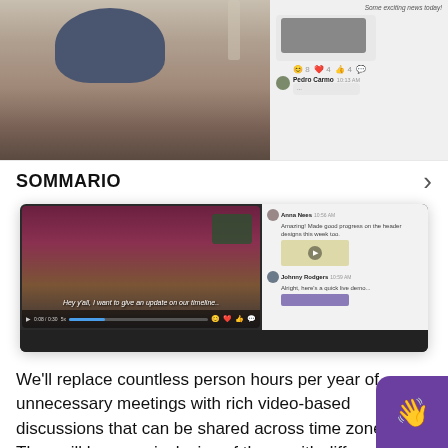[Figure (screenshot): Top screenshot showing a video call with a person wearing a blue hat, alongside a chat panel with messages and emoji reactions]
SOMMARIO
[Figure (screenshot): Main app screenshot showing a video update with subtitle 'Hey y'all, I want to give an update on our timeline..' alongside a chat panel with messages from Anna Nees and Johnny Rodgers]
We’ll replace countless person hours per year of unnecessary meetings with rich video-based discussions that can be shared across time zones. They will be more inclusive of those with different communication styles, and create an accessible video archive. It’s the flexibility globally distributed teams will